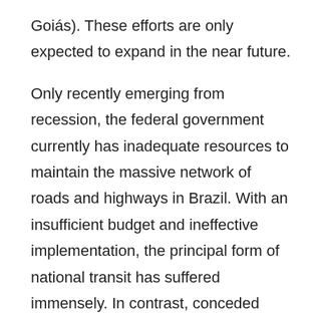Goiás). These efforts are only expected to expand in the near future.
Only recently emerging from recession, the federal government currently has inadequate resources to maintain the massive network of roads and highways in Brazil. With an insufficient budget and ineffective implementation, the principal form of national transit has suffered immensely. In contrast, conceded roadways have demonstrated superior performance, fewer accidents, and lower costs of upkeep. "We have no doubts, the public needs to recognize the importance of private initiatives and call upon investors to be pioneers in this field," stated